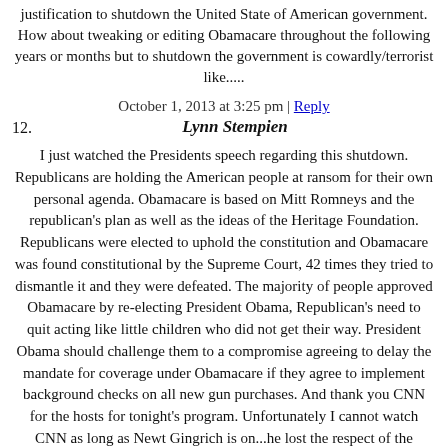justification to shutdown the United State of American government. How about tweaking or editing Obamacare throughout the following years or months but to shutdown the government is cowardly/terrorist like.....
October 1, 2013 at 3:25 pm | Reply
12. Lynn Stempien
I just watched the Presidents speech regarding this shutdown. Republicans are holding the American people at ransom for their own personal agenda. Obamacare is based on Mitt Romneys and the republican's plan as well as the ideas of the Heritage Foundation. Republicans were elected to uphold the constitution and Obamacare was found constitutional by the Supreme Court, 42 times they tried to dismantle it and they were defeated. The majority of people approved Obamacare by re-electing President Obama, Republican's need to quit acting like little children who did not get their way. President Obama should challenge them to a compromise agreeing to delay the mandate for coverage under Obamacare if they agree to implement background checks on all new gun purchases. And thank you CNN for the hosts for tonight's program. Unfortunately I cannot watch CNN as long as Newt Gingrich is on...he lost the respect of the people by his actions when he was speaker of the house, he has no respect for other guests or co-hosts. I have to